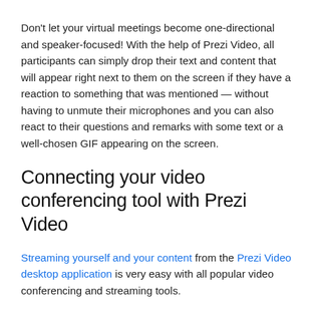Don't let your virtual meetings become one-directional and speaker-focused! With the help of Prezi Video, all participants can simply drop their text and content that will appear right next to them on the screen if they have a reaction to something that was mentioned — without having to unmute their microphones and you can also react to their questions and remarks with some text or a well-chosen GIF appearing on the screen.
Connecting your video conferencing tool with Prezi Video
Streaming yourself and your content from the Prezi Video desktop application is very easy with all popular video conferencing and streaming tools.
1. Open the Prezi Video desktop app and prepare your content.